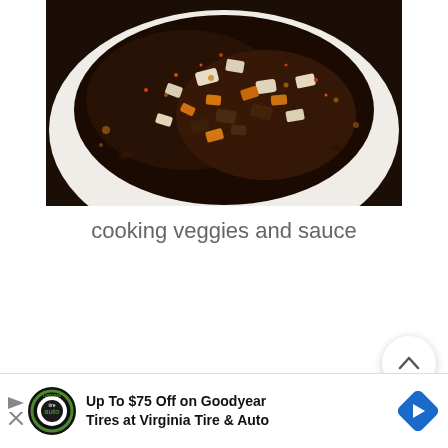[Figure (photo): Close-up photo of cooking vegetables and sauce in a white pan/bowl, showing chopped vegetables in a dark brown sauce with oil]
cooking veggies and sauce
[Figure (other): UI elements: up-arrow circular button, vote count 182, heart/like circular button, purple search circular button]
[Figure (other): Advertisement banner: Up To $75 Off on Goodyear Tires at Virginia Tire & Auto with Tire Auto logo and navigation arrow icon]